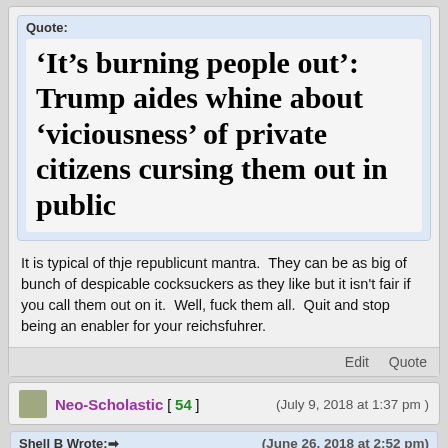Quote:
‘It’s burning people out’: Trump aides whine about ‘viciousness’ of private citizens cursing them out in public
It is typical of thje republicunt mantra.  They can be as big of bunch of despicable cocksuckers as they like but it isn't fair if you call them out on it.  Well, fuck them all.  Quit and stop being an enabler for your reichsfuhrer.
Edit   Quote
Neo-Scholastic [ 54 ]   (July 9, 2018 at 1:37 pm )
Shell B Wrote:   (June 26, 2018 at 2:52 pm)